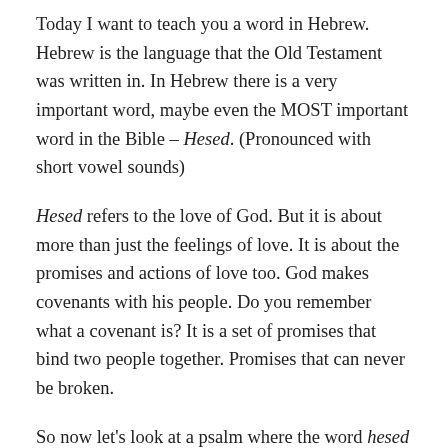Today I want to teach you a word in Hebrew. Hebrew is the language that the Old Testament was written in. In Hebrew there is a very important word, maybe even the MOST important word in the Bible – Hesed. (Pronounced with short vowel sounds)
Hesed refers to the love of God. But it is about more than just the feelings of love. It is about the promises and actions of love too. God makes covenants with his people. Do you remember what a covenant is? It is a set of promises that bind two people together. Promises that can never be broken.
So now let's look at a psalm where the word hesed is used. You won't hear the word hesed because